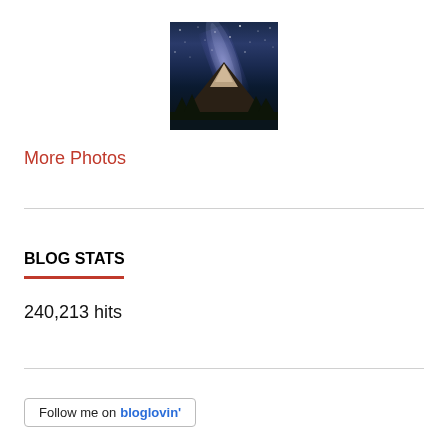[Figure (photo): Night sky photo showing a mountain with Milky Way galaxy above it, dark blue tones]
More Photos
BLOG STATS
240,213 hits
Follow me on bloglovin'